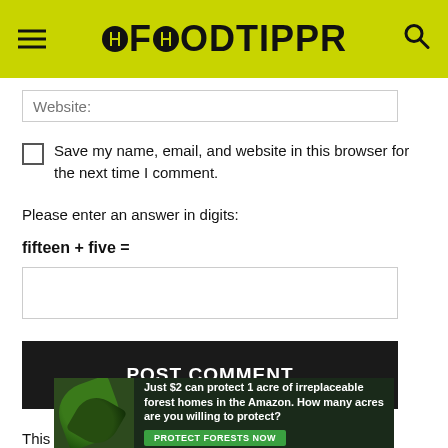FOODTIPPR
Website:
Save my name, email, and website in this browser for the next time I comment.
Please enter an answer in digits:
fifteen + five =
POST COMMENT
This site uses Akismet to reduce spam. Learn how your comment data is processed.
[Figure (photo): Forest/Amazon advertisement banner: Just $2 can protect 1 acre of irreplaceable forest homes in the Amazon. How many acres are you willing to protect? PROTECT FORESTS NOW]